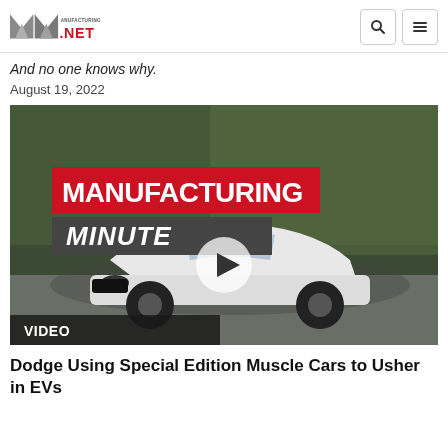Manufacturing.NET
And no one knows why.
August 19, 2022
[Figure (screenshot): Video thumbnail showing a white Dodge Challenger muscle car on a road with motion-blurred trees in the background. Overlay text reads 'MANUFACTURING MINUTE' with a red banner and a play button in the center. A dark bar at the bottom reads 'VIDEO'.]
Dodge Using Special Edition Muscle Cars to Usher in EVs